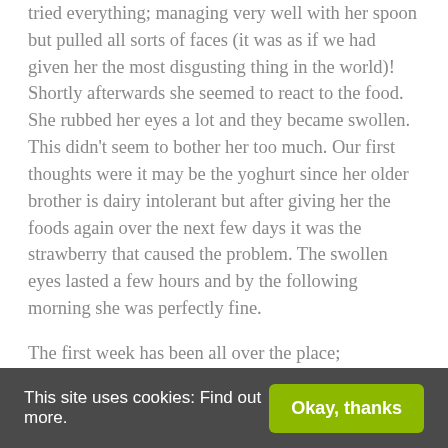tried everything; managing very well with her spoon but pulled all sorts of faces (it was as if we had given her the most disgusting thing in the world)! Shortly afterwards she seemed to react to the food. She rubbed her eyes a lot and they became swollen. This didn't seem to bother her too much. Our first thoughts were it may be the yoghurt since her older brother is dairy intolerant but after giving her the foods again over the next few days it was the strawberry that caused the problem. The swollen eyes lasted a few hours and by the following morning she was perfectly fine.
The first week has been all over the place; sometimes she was really interested and other times she would ignore the food. We made a dinner of lemon sole, sweet potatoes and sautéed spinach mashed all together and loaded on to the spoon for her; she ate four spoonfuls and really enjoyed it. Other foods we thought she would really like, she didn't seem that
This site uses cookies: Find out more. | Okay, thanks